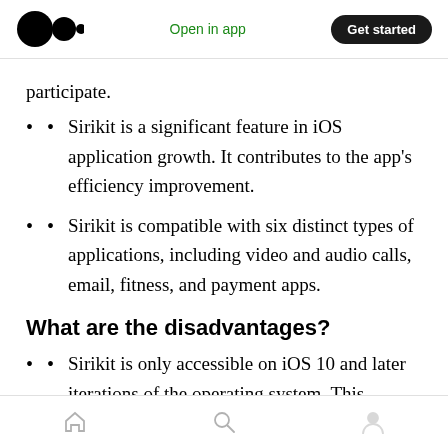Open in app | Get started
participate.
Sirikit is a significant feature in iOS application growth. It contributes to the app's efficiency improvement.
Sirikit is compatible with six distinct types of applications, including video and audio calls, email, fitness, and payment apps.
What are the disadvantages?
Sirikit is only accessible on iOS 10 and later iterations of the operating system. This
Home | Search | Profile